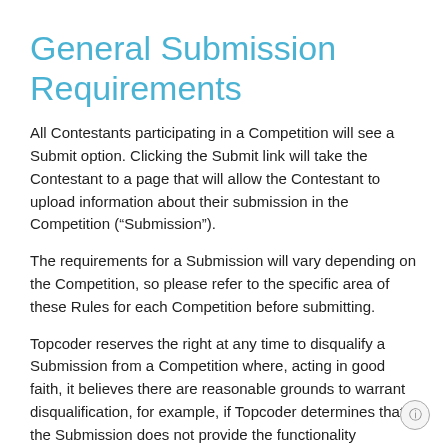General Submission Requirements
All Contestants participating in a Competition will see a Submit option. Clicking the Submit link will take the Contestant to a page that will allow the Contestant to upload information about their submission in the Competition (“Submission”).
The requirements for a Submission will vary depending on the Competition, so please refer to the specific area of these Rules for each Competition before submitting.
Topcoder reserves the right at any time to disqualify a Submission from a Competition where, acting in good faith, it believes there are reasonable grounds to warrant disqualification, for example, if Topcoder determines that the Submission does not provide the functionality described or